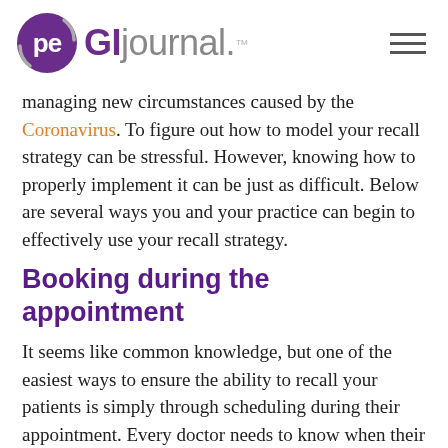pe GIjournal.™
managing new circumstances caused by the Coronavirus. To figure out how to model your recall strategy can be stressful. However, knowing how to properly implement it can be just as difficult. Below are several ways you and your practice can begin to effectively use your recall strategy.
Booking during the appointment
It seems like common knowledge, but one of the easiest ways to ensure the ability to recall your patients is simply through scheduling during their appointment. Every doctor needs to know when their patients next visit is scheduled for. IF a patient has come in for a